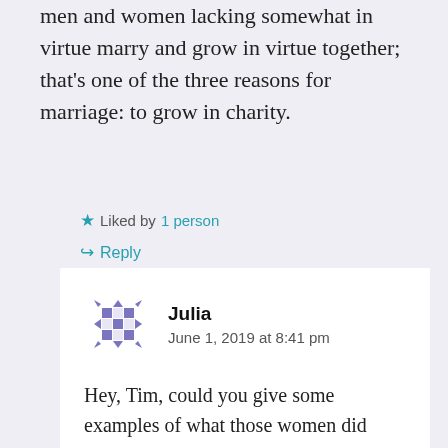men and women lacking somewhat in virtue marry and grow in virtue together; that's one of the three reasons for marriage: to grow in charity.
★ Liked by 1 person
↪ Reply
Julia
June 1, 2019 at 8:41 pm
Hey, Tim, could you give some examples of what those women did when they were trying to dominate